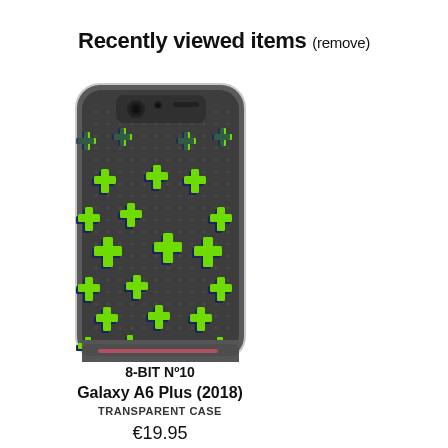Recently viewed items (remove)
[Figure (photo): Samsung Galaxy A6 Plus phone case with transparent/grey background covered in neon green plus/cross symbols (8-bit style pattern). The case is shown from the back, portrait orientation.]
8-BIT Nº10
Galaxy A6 Plus (2018)
TRANSPARENT CASE
€19.95